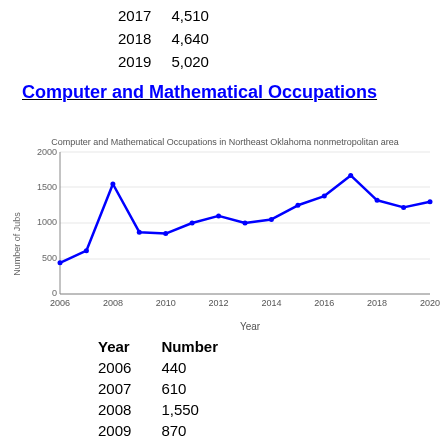| 2017 | 4,510 |
| 2018 | 4,640 |
| 2019 | 5,020 |
Computer and Mathematical Occupations
[Figure (line-chart): Computer and Mathematical Occupations in Northeast Oklahoma nonmetropolitan area]
| Year | Number |
| --- | --- |
| 2006 | 440 |
| 2007 | 610 |
| 2008 | 1,550 |
| 2009 | 870 |